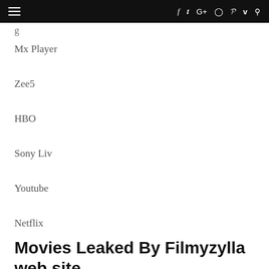≡  f  t  G+  ◻  p  v  ⌕
g
Mx Player
Zee5
HBO
Sony Liv
Youtube
Netflix
Movies Leaked By Filmyzylla web site